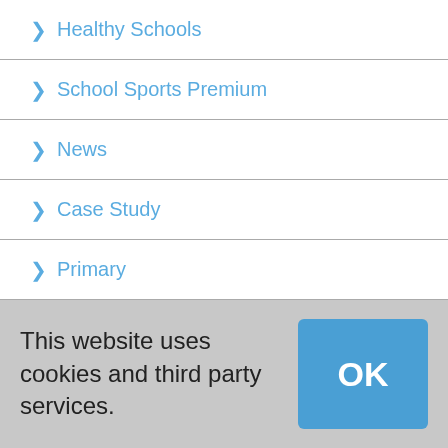Healthy Schools
School Sports Premium
News
Case Study
Primary
Secondary
CPD
SEN
This website uses cookies and third party services.